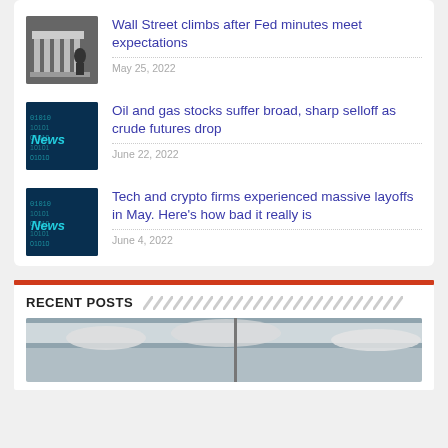[Figure (photo): Thumbnail of Wall Street building with person]
Wall Street climbs after Fed minutes meet expectations
May 25, 2022
[Figure (photo): Digital news/technology background thumbnail]
Oil and gas stocks suffer broad, sharp selloff as crude futures drop
June 22, 2022
[Figure (photo): Digital news/technology background thumbnail]
Tech and crypto firms experienced massive layoffs in May. Here’s how bad it really is
June 4, 2022
RECENT POSTS
[Figure (photo): Cloudy sky with tower/pole image]